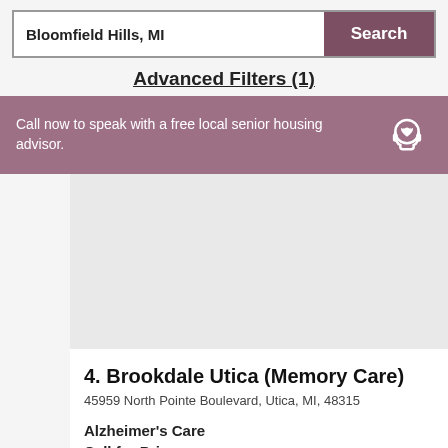Bloomfield Hills, MI
Search
Advanced Filters (1)
Call now to speak with a free local senior housing advisor.
4. Brookdale Utica (Memory Care)
45959 North Pointe Boulevard, Utica, MI, 48315
Alzheimer's Care
Call for Price
view map